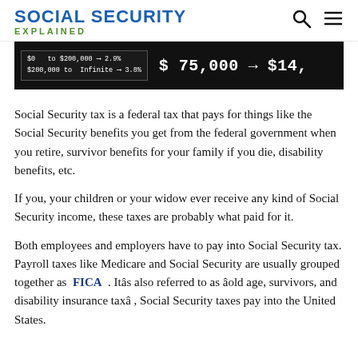SOCIAL SECURITY EXPLAINED
[Figure (screenshot): Dark background screenshot showing a tax table with entries '$0 to $200,000 --> 2.9%' and '$200,000 to Infinite --> 3.8%', with large white text showing '$75,000 --> $14,...]
Social Security tax is a federal tax that pays for things like the Social Security benefits you get from the federal government when you retire, survivor benefits for your family if you die, disability benefits, etc.
If you, your children or your widow ever receive any kind of Social Security income, these taxes are probably what paid for it.
Both employees and employers have to pay into Social Security tax. Payroll taxes like Medicare and Social Security are usually grouped together as FICA . Itâs also referred to as âold age, survivors, and disability insurance taxâ , Social Security taxes pay into the United States.